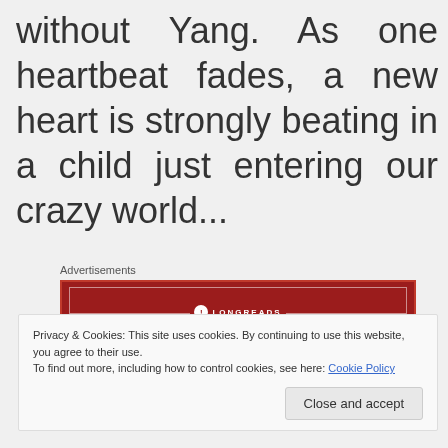without Yang. As one heartbeat fades, a new heart is strongly beating in a child just entering our crazy world...
Advertisements
[Figure (other): Longreads advertisement banner — dark red background with white border, Longreads logo and tagline: The best stories on the web – ours, and everyone else's.]
Privacy & Cookies: This site uses cookies. By continuing to use this website, you agree to their use.
To find out more, including how to control cookies, see here: Cookie Policy
Close and accept